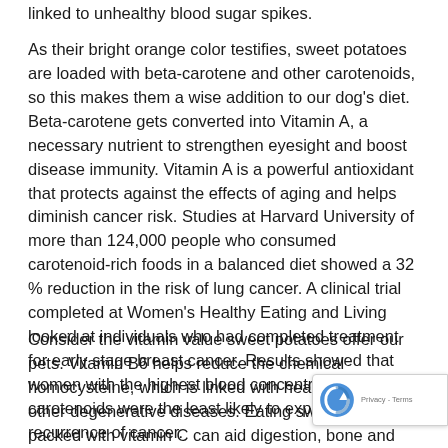linked to unhealthy blood sugar spikes.
As their bright orange color testifies, sweet potatoes are loaded with beta-carotene and other carotenoids, so this makes them a wise addition to our dog’s diet. Beta-carotene gets converted into Vitamin A, a necessary nutrient to strengthen eyesight and boost disease immunity. Vitamin A is a powerful antioxidant that protects against the effects of aging and helps diminish cancer risk. Studies at Harvard University of more than 124,000 people who consumed carotenoid-rich foods in a balanced diet showed a 32 % reduction in the risk of lung cancer. A clinical trial completed at Women’s Healthy Eating and Living looked at individuals who had completed treatment for early stage breast cancer. Results showed that women with the highest blood concentrations of carotenoids were the least likely to experience a recurrence of cancer.
Consider the vitamin value sweet potatoes offer our pets. Vitamin B6 helps reduce the chemical homocysteine, which is linked with heart attack and other degenerative diseases. Eating sweet potatoes packed with vitamin C can aid digestion, bone and formation and blood cell growth. Vitamin C accelerates wound